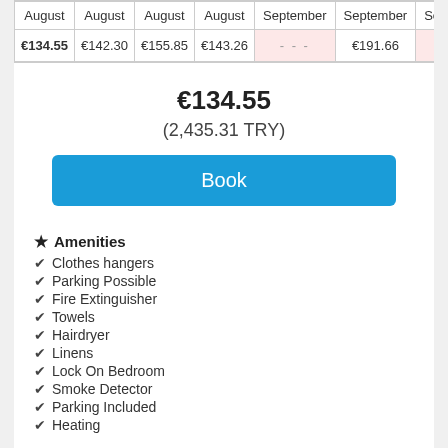| August | August | August | August | September | September | Se |
| --- | --- | --- | --- | --- | --- | --- |
| €134.55 | €142.30 | €155.85 | €143.26 | - - - | €191.66 |  |
€134.55
(2,435.31 TRY)
Book
Amenities
Clothes hangers
Parking Possible
Fire Extinguisher
Towels
Hairdryer
Linens
Lock On Bedroom
Smoke Detector
Parking Included
Heating